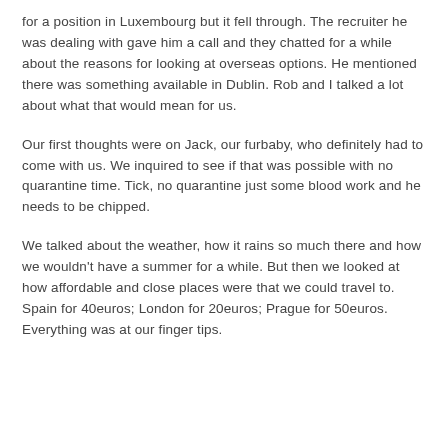for a position in Luxembourg but it fell through. The recruiter he was dealing with gave him a call and they chatted for a while about the reasons for looking at overseas options. He mentioned there was something available in Dublin. Rob and I talked a lot about what that would mean for us.
Our first thoughts were on Jack, our furbaby, who definitely had to come with us. We inquired to see if that was possible with no quarantine time. Tick, no quarantine just some blood work and he needs to be chipped.
We talked about the weather, how it rains so much there and how we wouldn't have a summer for a while. But then we looked at how affordable and close places were that we could travel to. Spain for 40euros; London for 20euros; Prague for 50euros. Everything was at our finger tips.